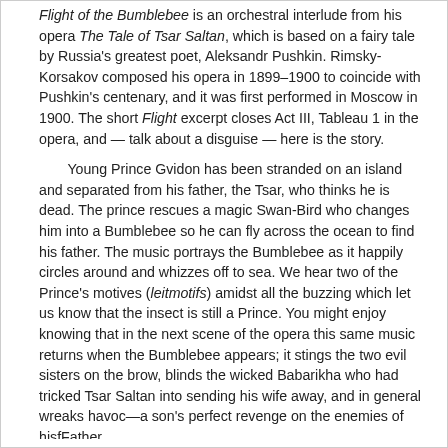Flight of the Bumblebee is an orchestral interlude from his opera The Tale of Tsar Saltan, which is based on a fairy tale by Russia's greatest poet, Aleksandr Pushkin. Rimsky-Korsakov composed his opera in 1899–1900 to coincide with Pushkin's centenary, and it was first performed in Moscow in 1900. The short Flight excerpt closes Act III, Tableau 1 in the opera, and — talk about a disguise — here is the story.
Young Prince Gvidon has been stranded on an island and separated from his father, the Tsar, who thinks he is dead. The prince rescues a magic Swan-Bird who changes him into a Bumblebee so he can fly across the ocean to find his father. The music portrays the Bumblebee as it happily circles around and whizzes off to sea. We hear two of the Prince's motives (leitmotifs) amidst all the buzzing which let us know that the insect is still a Prince. You might enjoy knowing that in the next scene of the opera this same music returns when the Bumblebee appears; it stings the two evil sisters on the brow, blinds the wicked Babarikha who had tricked Tsar Saltan into sending his wife away, and in general wreaks havoc—a son's perfect revenge on the enemies of hisfFather.